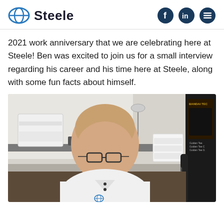Steele
2021 work anniversary that we are celebrating here at Steele! Ben was excited to join us for a small interview regarding his career and his time here at Steele, along with some fun facts about himself.
[Figure (photo): A bald man wearing glasses and a white Steele polo shirt, seated at a home office desk with a printer and arcade machine visible in the background, appearing to be on a video call.]